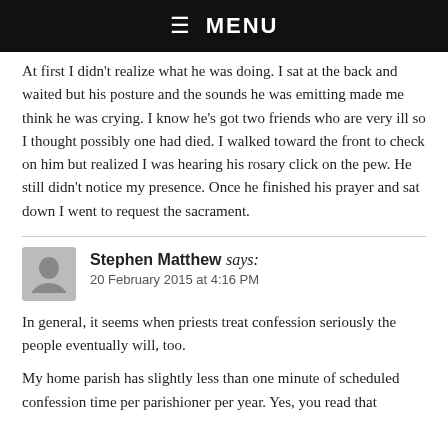☰ MENU
At first I didn't realize what he was doing. I sat at the back and waited but his posture and the sounds he was emitting made me think he was crying. I know he's got two friends who are very ill so I thought possibly one had died. I walked toward the front to check on him but realized I was hearing his rosary click on the pew. He still didn't notice my presence. Once he finished his prayer and sat down I went to request the sacrament.
Stephen Matthew says:
20 February 2015 at 4:16 PM
In general, it seems when priests treat confession seriously the people eventually will, too.
My home parish has slightly less than one minute of scheduled confession time per parishioner per year. Yes, you read that